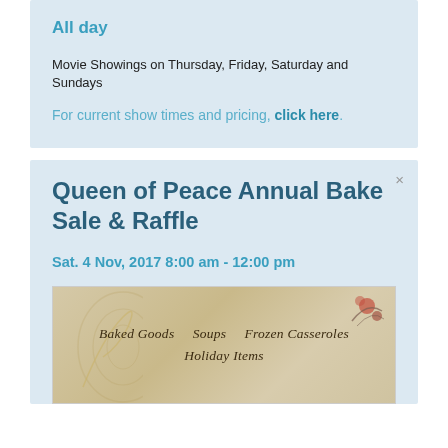All day
Movie Showings on Thursday, Friday, Saturday and Sundays
For current show times and pricing, click here.
Queen of Peace Annual Bake Sale & Raffle
Sat. 4 Nov, 2017 8:00 am - 12:00 pm
[Figure (photo): Bake sale flyer image with decorative swirl, listing Baked Goods, Soups, Frozen Casseroles, and Holiday Items]